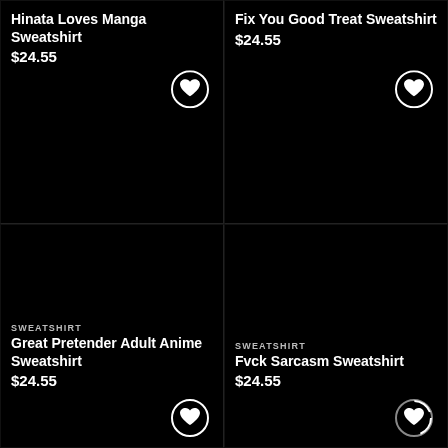Hinata Loves Manga Sweatshirt
$24.55
[Figure (illustration): Heart/wishlist icon button in a circle, top-left product card]
Fix You Good Treat Sweatshirt
$24.55
[Figure (illustration): Heart/wishlist icon button in a circle, top-right product card]
SWEATSHIRT
Great Pretender Adult Anime Sweatshirt
$24.55
[Figure (illustration): Heart/wishlist icon button in a circle, bottom-left product card]
SWEATSHIRT
Fvck Sarcasm Sweatshirt
$24.55
[Figure (illustration): Heart/wishlist icon button in a circle with loading spinner, bottom-right product card]